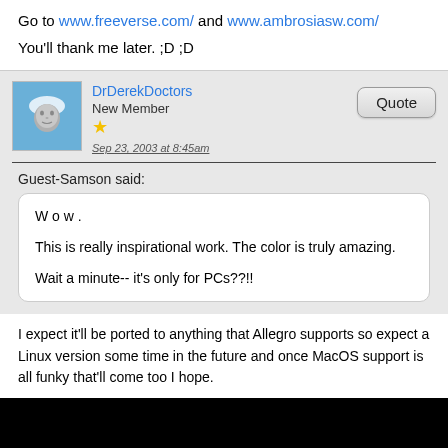Go to www.freeverse.com/ and www.ambrosiasw.com/
You'll thank me later. ;D ;D
DrDerekDoctors
New Member
Sep 23, 2003 at 8:45am
Guest-Samson said:
W o w .

This is really inspirational work. The color is truly amazing.

Wait a minute-- it's only for PCs??!!
I expect it'll be ported to anything that Allegro supports so expect a Linux version some time in the future and once MacOS support is all funky that'll come too I hope.